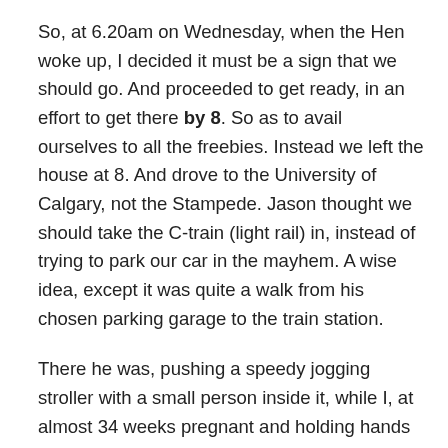So, at 6.20am on Wednesday, when the Hen woke up, I decided it must be a sign that we should go. And proceeded to get ready, in an effort to get there by 8. So as to avail ourselves to all the freebies. Instead we left the house at 8. And drove to the University of Calgary, not the Stampede. Jason thought we should take the C-train (light rail) in, instead of trying to park our car in the mayhem. A wise idea, except it was quite a walk from his chosen parking garage to the train station.
There he was, pushing a speedy jogging stroller with a small person inside it, while I, at almost 34 weeks pregnant and holding hands with a five year old, lagged behind. ‘Hustle it up’ he called over his shoulder. I bit my lip in an effort to contain the choice words I wanted to toss back at him. Apparently I’m the only pregnant-woman-with-6-weeks to go who can’t speed-walk.